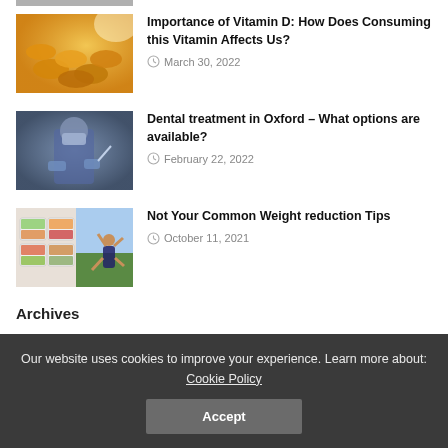[Figure (photo): Partial top image stub (cut off at top of page)]
[Figure (photo): Golden vitamin D capsules/softgels spilling from a bottle]
Importance of Vitamin D: How Does Consuming this Vitamin Affects Us?
March 30, 2022
[Figure (photo): Dental professional in mask and gloves performing a dental procedure]
Dental treatment in Oxford – What options are available?
February 22, 2022
[Figure (photo): Collage of meal prep containers with healthy food and woman exercising outdoors]
Not Your Common Weight reduction Tips
October 11, 2021
Archives
Our website uses cookies to improve your experience. Learn more about: Cookie Policy
Accept